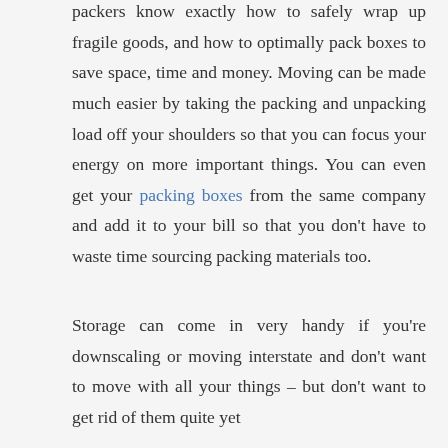packers know exactly how to safely wrap up fragile goods, and how to optimally pack boxes to save space, time and money. Moving can be made much easier by taking the packing and unpacking load off your shoulders so that you can focus your energy on more important things. You can even get your packing boxes from the same company and add it to your bill so that you don't have to waste time sourcing packing materials too.
Storage can come in very handy if you're downscaling or moving interstate and don't want to move with all your things – but don't want to get rid of them quite yet